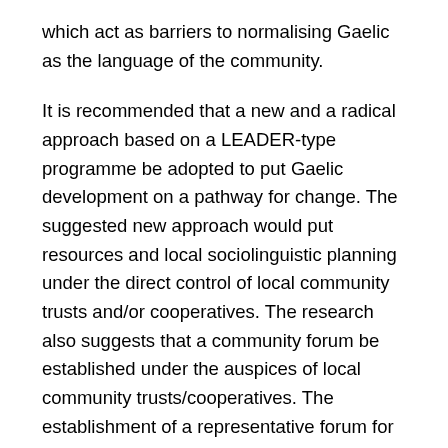which act as barriers to normalising Gaelic as the language of the community.
It is recommended that a new and a radical approach based on a LEADER-type programme be adopted to put Gaelic development on a pathway for change. The suggested new approach would put resources and local sociolinguistic planning under the direct control of local community trusts and/or cooperatives. The research also suggests that a community forum be established under the auspices of local community trusts/cooperatives. The establishment of a representative forum for the Gaelic vernacular community, analogous to a citizens' assembly, will be an important element in addressing the democratic imbalance which community members attach to